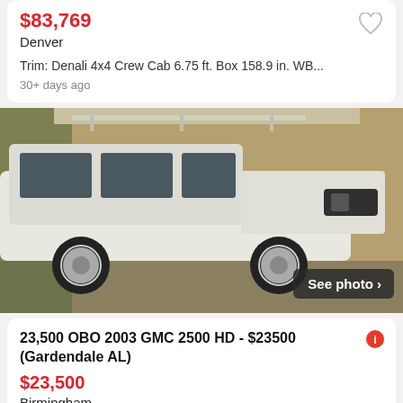$83,769
Denver
Trim: Denali 4x4 Crew Cab 6.75 ft. Box 158.9 in. WB...
30+ days ago
[Figure (photo): White GMC 2500 HD pickup truck with chrome wheels, lifted, photographed inside a garage. A 'See photo >' button overlay is visible in the bottom right corner.]
23,500 OBO 2003 GMC 2500 HD - $23500 (Gardendale AL)
$23,500
Birmingham